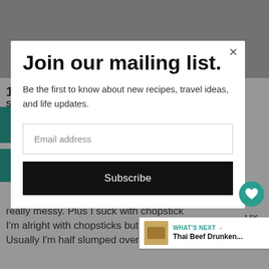[Figure (screenshot): Background webpage content partially visible behind a modal overlay, showing a teal sidebar, page number, and article body text about chopsticks.]
Join our mailing list.
Be the first to know about new recipes, travel ideas, and life updates.
Email address
Subscribe
really messy. Plus I suck with chopsticks. I'm alright with chopsticks but still not the best. Usually I'm half slumped over the bowl all while
WHAT'S NEXT → Thai Beef Drunken...